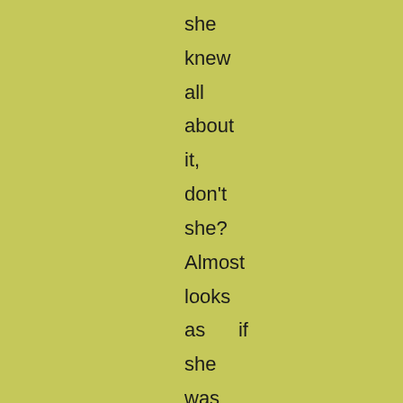she
knew
all
about
it,
don't
she?
Almost
looks
as      if
she
was
Krook.
Shoohoo!
Get
out,
you
goblin!"